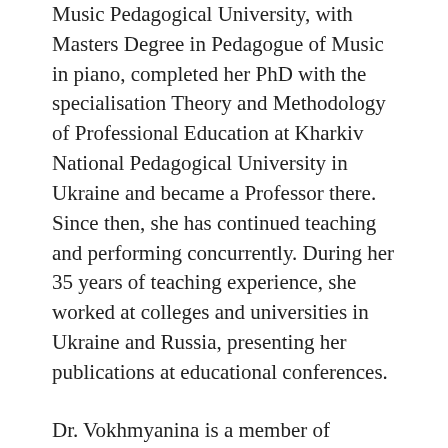Music Pedagogical University, with Masters Degree in Pedagogue of Music in piano, completed her PhD with the specialisation Theory and Methodology of Professional Education at Kharkiv National Pedagogical University in Ukraine and became a Professor there. Since then, she has continued teaching and performing concurrently. During her 35 years of teaching experience, she worked at colleges and universities in Ukraine and Russia, presenting her publications at educational conferences.
Dr. Vokhmyanina is a member of adjudication panels at the international music competitions and festivals in the Thailand Chopin Piano Competition and 3rd Singapore Steinway Youth Piano Competition. She regularly conducts piano masterclasses worldwide, including in Music Summer Academy (Olbia, Italy), Kurozwenki Music Summer Academy (Poland), and Singapore Raffles International Music Festival etc.
She is Founder and Artistic Director of “Symphony of